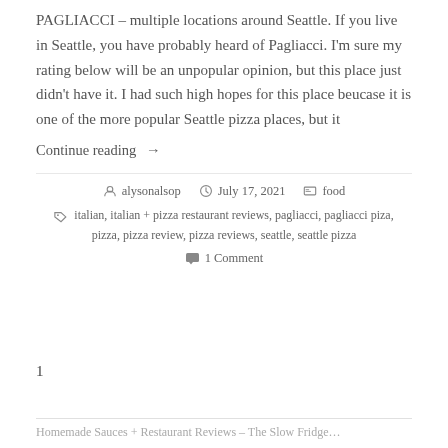PAGLIACCI – multiple locations around Seattle. If you live in Seattle, you have probably heard of Pagliacci. I'm sure my rating below will be an unpopular opinion, but this place just didn't have it. I had such high hopes for this place beucase it is one of the more popular Seattle pizza places, but it
Continue reading →
alysonalsop   July 17, 2021   food
italian, italian + pizza restaurant reviews, pagliacci, pagliacci piza, pizza, pizza review, pizza reviews, seattle, seattle pizza
1 Comment
1
Homemade Sauces + Restaurant Reviews – The Slow Fridge...